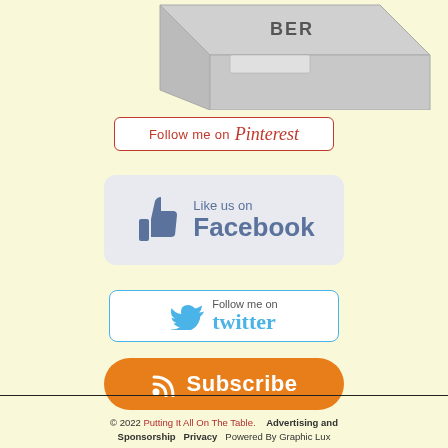[Figure (illustration): Partial view of a 3D box/product with text partially visible at top of page]
[Figure (other): Pinterest follow button: 'Follow me on Pinterest' in red with border]
[Figure (other): Facebook Like button: thumbs up icon with 'Like us on Facebook' in blue-grey on light grey rounded button]
[Figure (other): Twitter follow button: blue bird icon with 'Follow me on twitter' on white button with blue border]
[Figure (other): RSS Subscribe button: orange rounded button with RSS icon and 'Subscribe' in white]
© 2022 Putting It All On The Table.    Advertising and Sponsorship   Privacy   Powered By Graphic Lux